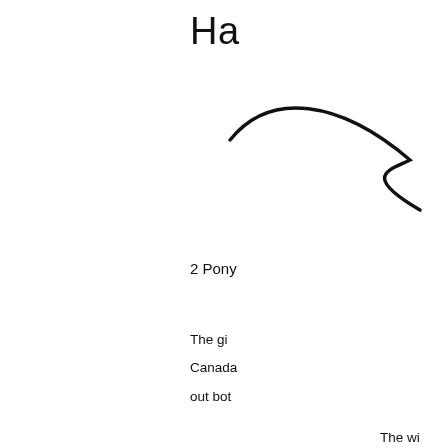Ha
[Figure (illustration): Curved line drawing resembling a partial hairline or hairstyle arc, viewed from above/side]
2 Pony
The gi Canada out bot
The wi